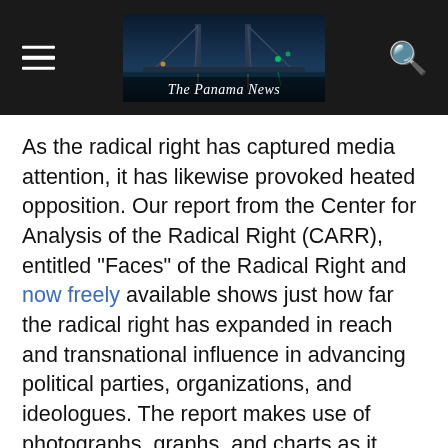The Panama News
As the radical right has captured media attention, it has likewise provoked heated opposition. Our report from the Center for Analysis of the Radical Right (CARR), entitled “Faces” of the Radical Right and now freely available shows just how far the radical right has expanded in reach and transnational influence in advancing political parties, organizations, and ideologues. The report makes use of photographs, graphs, and charts as it seeks to give order to what is by its nature a disordered subject.
The CARR report takes up both the racist, reformist radical right and the revolutionary, fascist extreme right while acknowledging that one shades into the other, and that some groups stand astride the very line that separates them. It shows that radical right groups are nativist and